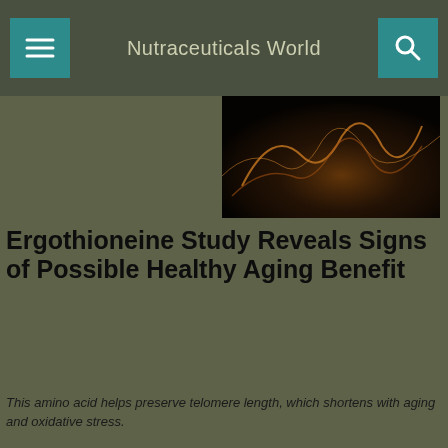Nutraceuticals World
[Figure (photo): Dark background image with orange/amber glowing lines or curves, possibly a graph or abstract scientific visualization on black background.]
Ergothioneine Study Reveals Signs of Possible Healthy Aging Benefit
This amino acid helps preserve telomere length, which shortens with aging and oxidative stress.
12.11.20
BREAKING NEWS | CONSUMER TRENDS |